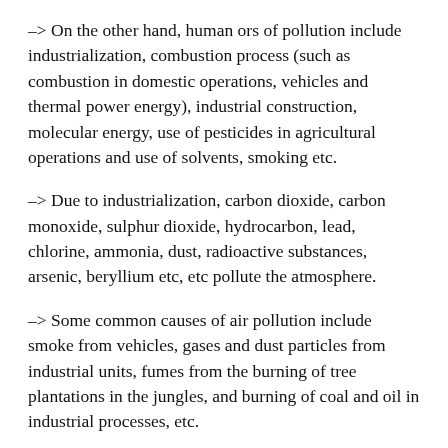-> On the other hand, human ors of pollution include industrialization, combustion process (such as combustion in domestic operations, vehicles and thermal power energy), industrial construction, molecular energy, use of pesticides in agricultural operations and use of solvents, smoking etc.
-> Due to industrialization, carbon dioxide, carbon monoxide, sulphur dioxide, hydrocarbon, lead, chlorine, ammonia, dust, radioactive substances, arsenic, beryllium etc, etc pollute the atmosphere.
-> Some common causes of air pollution include smoke from vehicles, gases and dust particles from industrial units, fumes from the burning of tree plantations in the jungles, and burning of coal and oil in industrial processes, etc.